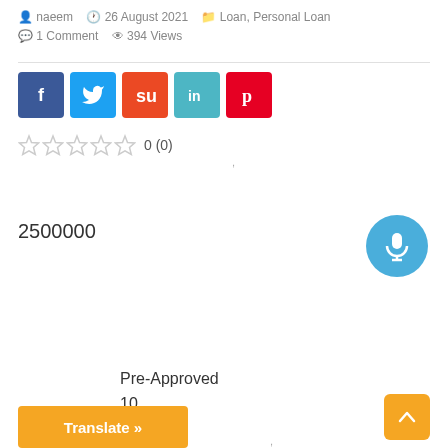naeem   26 August 2021   Loan, Personal Loan
1 Comment   394 Views
[Figure (other): Social share buttons: Facebook, Twitter, StumbleUpon, LinkedIn, Pinterest]
0 (0)
2500000
[Figure (other): Blue circular microphone button]
Pre-Approved
10